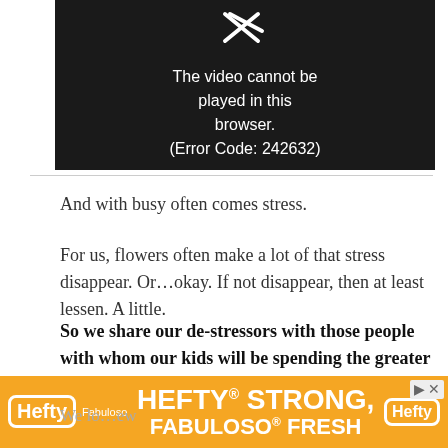[Figure (screenshot): Black video player area showing error message: 'The video cannot be played in this browser. (Error Code: 242632)' with a crossed-out play icon above it.]
And with busy often comes stress.
For us, flowers often make a lot of that stress disappear.  Or... okay. If not disappear, then at least lessen.  A little.
So we share our de-stressors with those people with whom our kids will be spending the greater part of their little lives for the next 180 days: teachers.
[Figure (advertisement): Orange Hefty advertisement banner: 'HEFTY STRONG, FABULOSO FRESH' with Hefty and Fabuloso logos]
We lo...ew